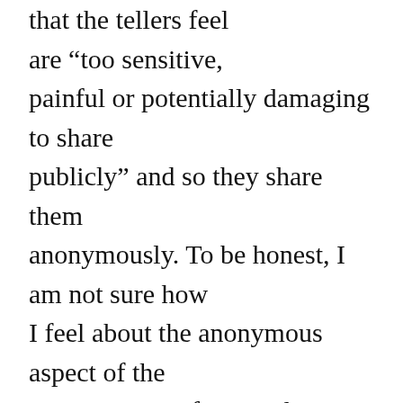that the tellers feel are “too sensitive, painful or potentially damaging to share publicly” and so they share them anonymously. To be honest, I am not sure how I feel about the anonymous aspect of the series. But my focus today is the content of Episode 5: Equality Executive. In it, a corporate leadership consultant gives advice on how to create gender parity in the senior ranks of an organization. Her main thesis is that companies should treat achieving gender parity in their senior ranks the same way they would treat any good business decision, because that’s what gender parity in the C